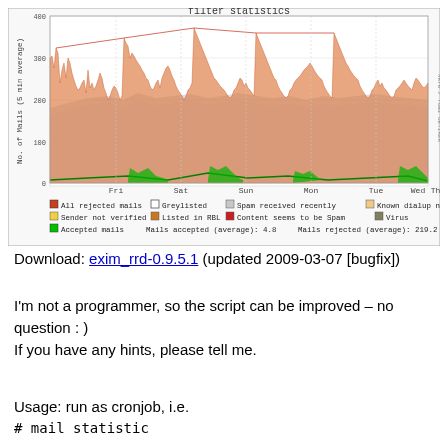[Figure (continuous-plot): Time-series area/line chart showing mail filter statistics over approximately one week (Fri to Thu). Y-axis: No. of Mails (5 min average), range 0-400+. Multiple overlapping colored areas: blue/grey for greylisted/spam received recently, orange/red spikes for rejected mails, green line near zero for accepted mails. Legend shows: All rejected mails, Greylisted, Spam received recently, Known dialup net, Sender not verified, Listed in RBL, Content seems to be Spam, Virus, Accepted mails. Mails accepted (average): 4.8, Mails rejected (average): 219.2]
Download: exim_rrd-0.9.5.1 (updated 2009-03-07 [bugfix])
I'm not a programmer, so the script can be improved – no question : )
If you have any hints, please tell me.
Usage: run as cronjob, i.e.
# mail statistic